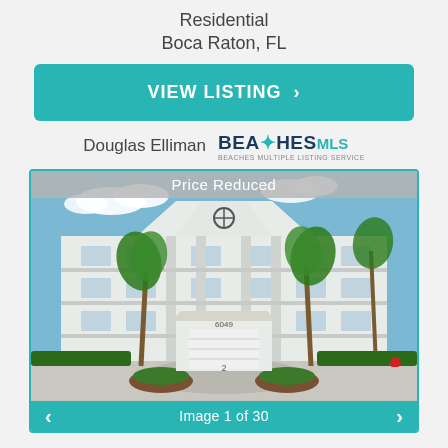Residential
Boca Raton, FL
VIEW LISTING >
Douglas Elliman  BEACHES MLS
[Figure (photo): Exterior photo of a white multi-story residential condominium building with columns, balconies, and palm trees. A white garage structure is in the foreground with the number 6049 visible. Banner reads 'Price Reduced'.]
Image 1 of 30